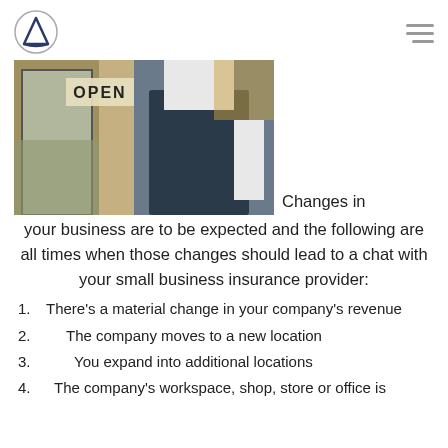[Figure (photo): Person wearing a dark apron standing at a shop entrance with an OPEN sign visible on the door, restaurant/store setting in background]
Changes in your business are to be expected and the following are all times when those changes should lead to a chat with your small business insurance provider:
There's a material change in your company's revenue
The company moves to a new location
You expand into additional locations
The company's workspace, shop, store or office is